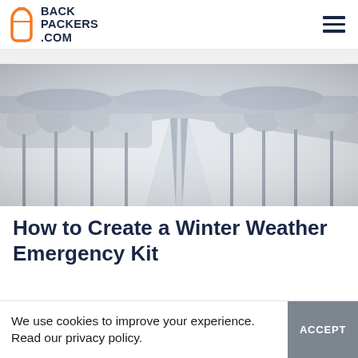BACKPACKERS.COM
[Figure (photo): Winter landscape photo showing a snow-covered road stretching into the distance, flanked by frost-covered trees on both sides, aerial/straight-ahead perspective, grayscale tones]
How to Create a Winter Weather Emergency Kit
We use cookies to improve your experience. Read our privacy policy.